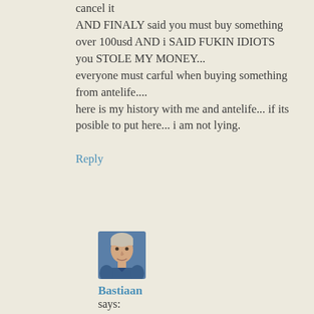cancel it AND FINALY said you must buy something over 100usd AND i SAID FUKIN IDIOTS you STOLE MY MONEY... everyone must carful when buying something from antelife.... here is my history with me and antelife... if its posible to put here... i am not lying.
Reply
[Figure (photo): Avatar photo of commenter Bastiaan, a middle-aged man with short hair wearing a blue shirt]
Bastiaan
says: